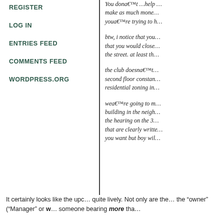REGISTER
LOG IN
ENTRIES FEED
COMMENTS FEED
WORDPRESS.ORG
You dona€™t ...make as much mone... youa€™re trying to h...
btw, i notice that you... that you would close... the street. at least th...
the club doesna€™t... second floor constan... residential zoning in...
wea€™re going to m... building in the neigh... the hearing on the 3... that are clearly writte... you want but boy wil...
It certainly looks like the upc... quite lively. Not only are the... the “owner” (“Manager” or w... someone bearing more tha...